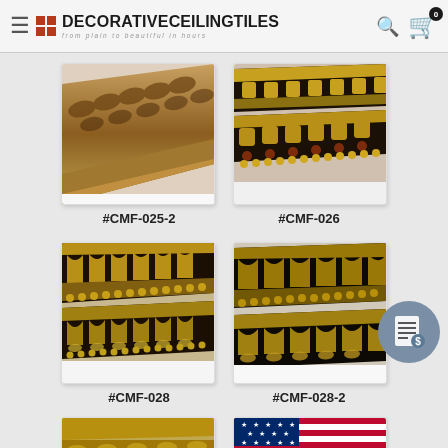DecorativeCeilingTiles — from plain to beautiful in hours
[Figure (photo): Product image of decorative crown molding #CMF-025-2, bronze/brown ornate style]
#CMF-025-2
[Figure (photo): Product image of decorative crown molding #CMF-026, black and gold ornate style]
#CMF-026
[Figure (photo): Product image of decorative crown molding #CMF-028, black and gold with arch details]
#CMF-028
[Figure (photo): Product image of decorative crown molding #CMF-028-2, dark with gold bead details]
#CMF-028-2
[Figure (photo): Partial product image at bottom left, bronze/gold molding]
[Figure (photo): Partial product image at bottom right showing American flag]